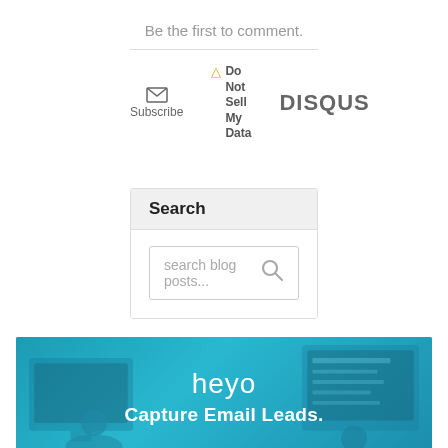Be the first to comment.
[Figure (screenshot): Disqus comment widget footer bar with Subscribe (envelope icon), Do Not Sell My Data (warning icon), and DISQUS logo]
Search
search blog posts...
[Figure (photo): Heyo banner ad with teal/blue background showing people working at computers, with 'heyo' logo text and 'Capture Email Leads.' tagline]